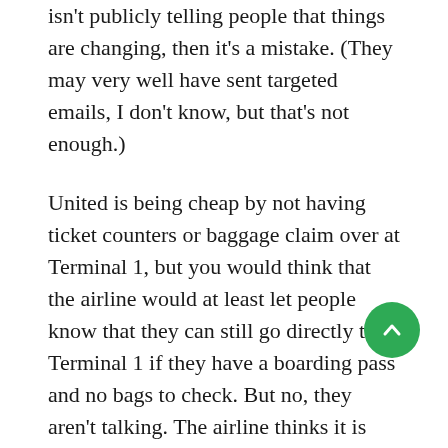isn't publicly telling people that things are changing, then it's a mistake. (They may very well have sent targeted emails, I don't know, but that's not enough.)
United is being cheap by not having ticket counters or baggage claim over at Terminal 1, but you would think that the airline would at least let people know that they can still go directly to Terminal 1 if they have a boarding pass and no bags to check. But no, they aren't talking. The airline thinks it is keeping things simple by not giving people options, but people will find those options and then just be angry with United for not telling them they were available.
Instead, people need to rely on good sources like The B.A.T. to keep up with all these changes. That's not how